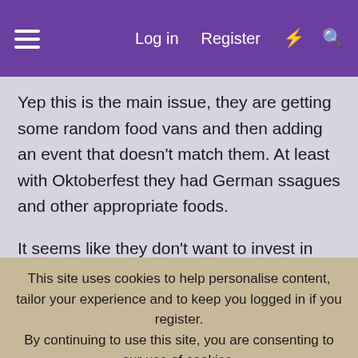≡  Log in  Register  ⚡  🔍
Yep this is the main issue, they are getting some random food vans and then adding an event that doesn't match them. At least with Oktoberfest they had German ssagues and other appropriate foods.

It seems like they don't want to invest in selling their own burgers properly (hence the rollover hotdogs which have a longer shelf life at the Forbiddon Valley BK) when they can just get someone else to bring a van in and take all the risk.
This site uses cookies to help personalise content, tailor your experience and to keep you logged in if you register.
By continuing to use this site, you are consenting to our use of cookies.